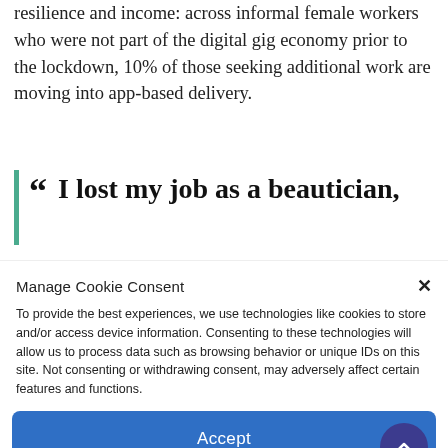resilience and income: across informal female workers who were not part of the digital gig economy prior to the lockdown, 10% of those seeking additional work are moving into app-based delivery.
“I lost my job as a beautician,
Manage Cookie Consent
To provide the best experiences, we use technologies like cookies to store and/or access device information. Consenting to these technologies will allow us to process data such as browsing behavior or unique IDs on this site. Not consenting or withdrawing consent, may adversely affect certain features and functions.
Accept